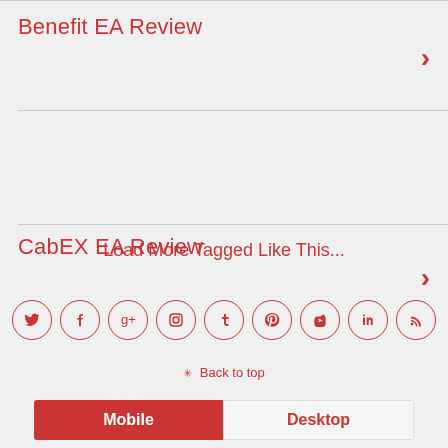Benefit EA Review
CabEX EA Review
Load More Tagged Like This...
[Figure (infographic): Row of 9 social media icon circles: Twitter, Facebook, Google+, Instagram, Tumblr, Pinterest, YouTube, LinkedIn, RSS]
✳ Back to top
Mobile | Desktop